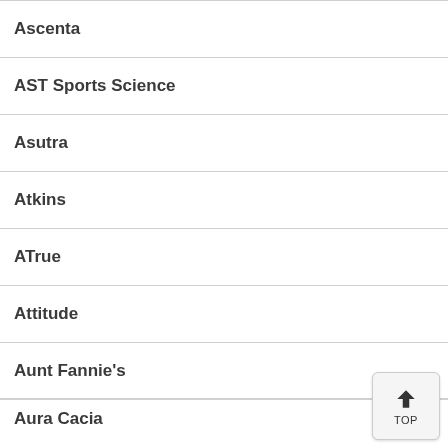Ascenta
AST Sports Science
Asutra
Atkins
ATrue
Attitude
Aunt Fannie's
Aura Cacia